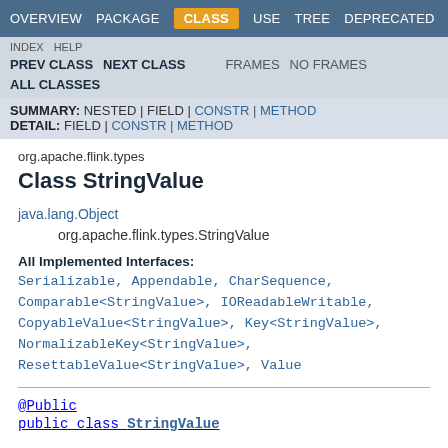OVERVIEW  PACKAGE  CLASS  USE  TREE  DEPRECATED
INDEX  HELP  PREV CLASS  NEXT CLASS  FRAMES  NO FRAMES  ALL CLASSES
SUMMARY: NESTED | FIELD | CONSTR | METHOD  DETAIL: FIELD | CONSTR | METHOD
org.apache.flink.types
Class StringValue
java.lang.Object
    org.apache.flink.types.StringValue
All Implemented Interfaces:
Serializable, Appendable, CharSequence, Comparable<StringValue>, IOReadableWritable, CopyableValue<StringValue>, Key<StringValue>, NormalizableKey<StringValue>, ResettableValue<StringValue>, Value
@Public
public class StringValue